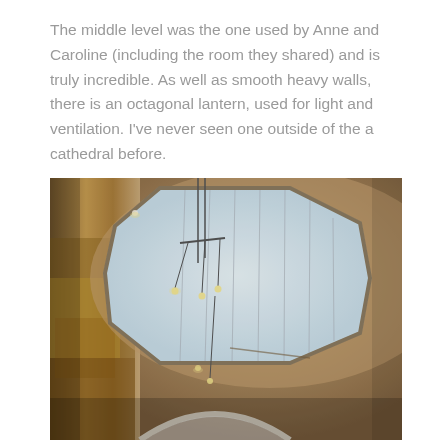The middle level was the one used by Anne and Caroline (including the room they shared) and is truly incredible. As well as smooth heavy walls, there is an octagonal lantern, used for light and ventilation. I've never seen one outside of the a cathedral before.
[Figure (photo): Interior photo looking up at a large octagonal skylight lantern set into a smooth plastered ceiling. The skylight lets in bright diffused light. The walls feature painted murals with warm ochre and brown tones. Hanging pendant lights are visible, and an arched white doorway can be seen at the bottom of the frame.]